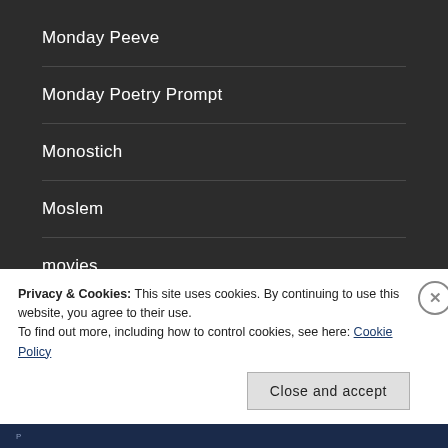Monday Peeve
Monday Poetry Prompt
Monostich
Moslem
movies
Mozart
Privacy & Cookies: This site uses cookies. By continuing to use this website, you agree to their use.
To find out more, including how to control cookies, see here: Cookie Policy
Close and accept